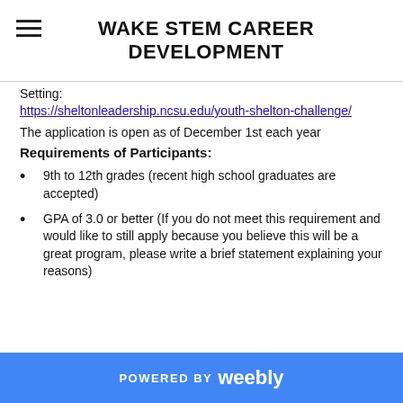WAKE STEM CAREER DEVELOPMENT
Setting:
https://sheltonleadership.ncsu.edu/youth-shelton-challenge/
The application is open as of December 1st each year
Requirements of Participants:
9th to 12th grades (recent high school graduates are accepted)
GPA of 3.0 or better (If you do not meet this requirement and would like to still apply because you believe this will be a great program, please write a brief statement explaining your reasons)
POWERED BY weebly